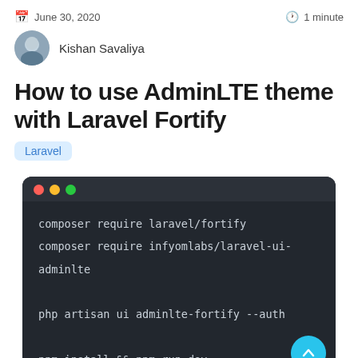June 30, 2020  |  1 minute
Kishan Savaliya
How to use AdminLTE theme with Laravel Fortify  [Laravel]
[Figure (screenshot): Terminal/code block showing commands: composer require laravel/fortify, composer require infyomlabs/laravel-ui-adminlte, php artisan ui adminlte-fortify --auth, npm install && npm run dev]